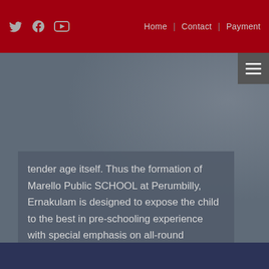Home | Contact | Payment
tender age itself. Thus the formation of Marello Public SCHOOL at Perumbilly, Ernakulam is designed to expose the child to the best in pre-schooling experience with special emphasis on all-round personality development.
LEARN MORE